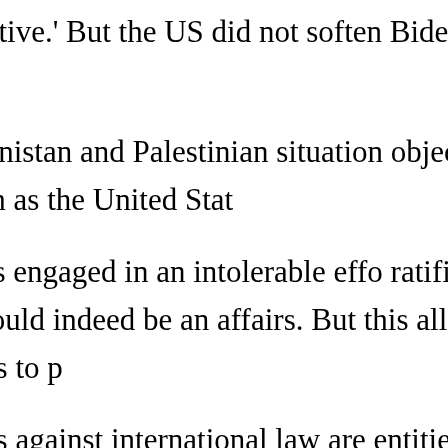against Bensouda and Mochochoko, s ineffective.' But the US did not softer Biden's secretary of state, Antony Bli
'we continue to disagree strongly w Afghanistan and Palestinian situation objection to the Court's efforts to ass States Parties such as the United Stat
In principle, this hostility to the IC court is engaged in an intolerable effo ratified—in effect, to subject the US t this were true, it would indeed be an affairs. But this alleged concern is gr jurisdiction over states—it seeks to p
This distinction was vital to the Nu 'crimes against international law are entities, and only by punishing indivi